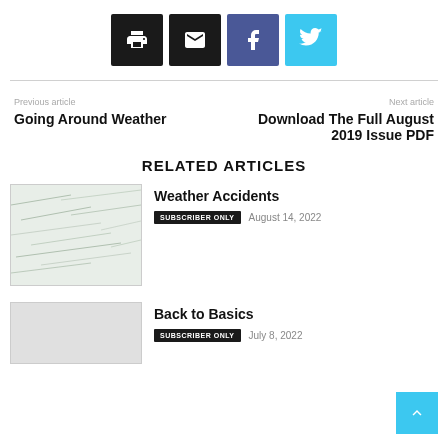[Figure (infographic): Row of four social sharing icon buttons: print (black), email (black), Facebook (purple-blue), Twitter (cyan)]
Previous article
Going Around Weather
Next article
Download The Full August 2019 Issue PDF
RELATED ARTICLES
[Figure (photo): Thumbnail photo showing a light grey/white marble or cloudy texture]
Weather Accidents
SUBSCRIBER ONLY   August 14, 2022
Back to Basics
SUBSCRIBER ONLY   July 8, 2022